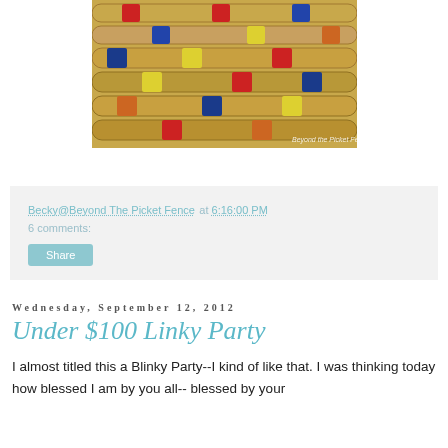[Figure (photo): Colorful painted bamboo poles or croquet mallets stacked horizontally against a wall, with a watermark reading 'Beyond the Picket Fence' in the lower right corner.]
Becky@Beyond The Picket Fence at 6:16:00 PM
6 comments:
Share
Wednesday, September 12, 2012
Under $100 Linky Party
I almost titled this a Blinky Party--I kind of like that.  I was thinking today how blessed I am by you all-- blessed by your